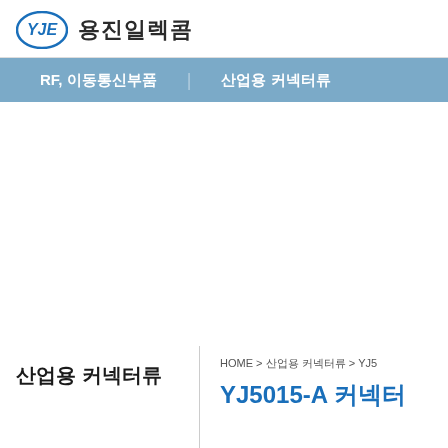용진일렉콤
RF, 이동통신부품   산업용 커넥터류
산업용 커넥터류
HOME > 산업용 커넥터류 > YJ5
YJ5015-A 커넥터
YJ5015-A 커넥터